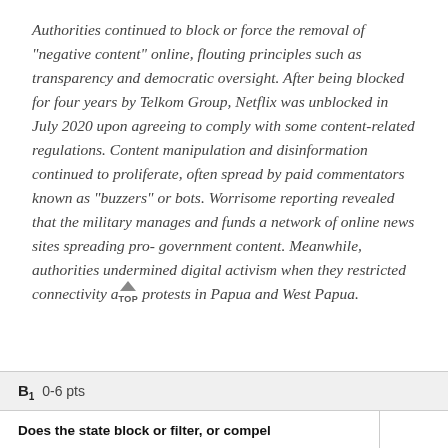Authorities continued to block or force the removal of "negative content" online, flouting principles such as transparency and democratic oversight. After being blocked for four years by Telkom Group, Netflix was unblocked in July 2020 upon agreeing to comply with some content-related regulations. Content manipulation and disinformation continued to proliferate, often spread by paid commentators known as "buzzers" or bots. Worrisome reporting revealed that the military manages and funds a network of online news sites spreading pro-government content. Meanwhile, authorities undermined digital activism when they restricted connectivity amid protests in Papua and West Papua.
| B1  0-6 pts |  |
| --- | --- |
| Does the state block or filter, or compel |  |